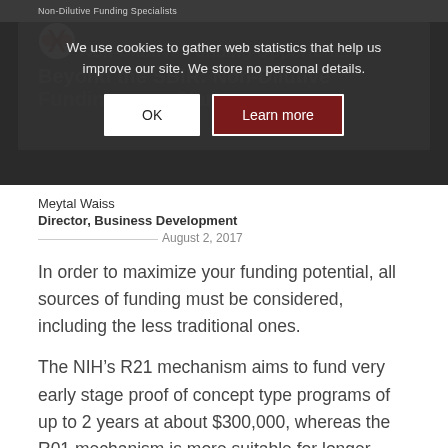[Figure (screenshot): Website screenshot showing a cookie consent overlay on a dark background. The overlay reads 'We use cookies to gather web statistics that help us improve our site. We store no personal details.' with OK and Learn more buttons. Behind the overlay, partially visible text reads 'Non-Dilutive Funding Opportunities' and 'Beyond the SBIR: Non-Dilutive Funding for Startup'.]
Meytal Waiss
Director, Business Development
August 2, 2017
In order to maximize your funding potential, all sources of funding must be considered, including the less traditional ones.
The NIH’s R21 mechanism aims to fund very early stage proof of concept type programs of up to 2 years at about $300,000, whereas the R01 mechanism is more suitable for longer programs